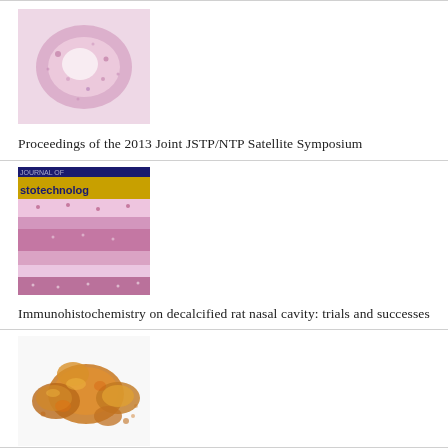[Figure (photo): Histological cross-section image showing tissue slice stained pink/purple, resembling a nasal or organ cross-section.]
Proceedings of the 2013 Joint JSTP/NTP Satellite Symposium
[Figure (photo): Journal of Histotechnology cover image showing microscopy of layered tissue stained in pink and purple.]
Immunohistochemistry on decalcified rat nasal cavity: trials and successes
[Figure (photo): Photo of Gum Ghatti, showing amber/golden colored resin lumps.]
Evaluation Of 90-day Oral Rat Toxicity Studies On The Food Additive, Gum Ghatti